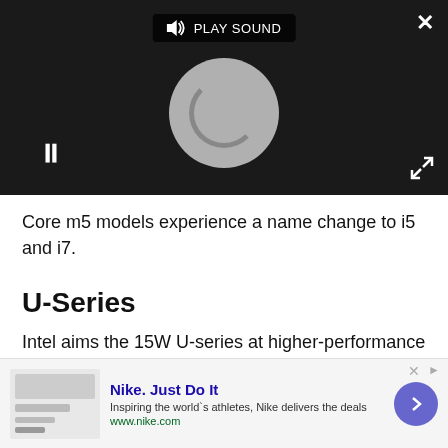[Figure (screenshot): Video player overlay with dark background, loading spinner (gray circle), pause button (two vertical bars), PLAY SOUND button at top, close X button top right, expand arrows button bottom right]
Core m5 models experience a name change to i5 and i7.
U-Series
Intel aims the 15W U-series at higher-performance mobility applications, enabling the same 2+2 configuration with HD Graphics 620.
Image 1 of 2
[Figure (screenshot): Nike advertisement banner: Nike. Just Do It - Inspiring the world's athletes, Nike delivers the deals. www.nike.com with thumbnail image and forward arrow button]